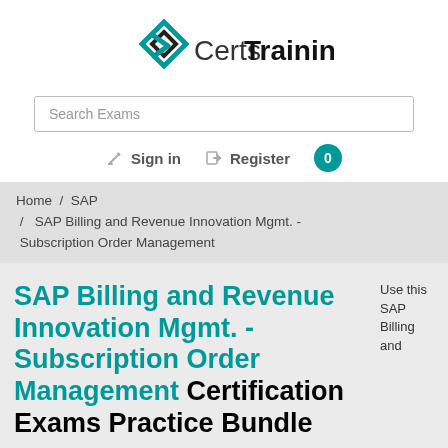[Figure (logo): CertsTraining logo with teal diamond/chevron icon and text 'CertsTraining']
Search Exams
Sign in   Register  0
Home / SAP / SAP Billing and Revenue Innovation Mgmt. - Subscription Order Management
SAP Billing and Revenue Innovation Mgmt. - Subscription Order Management Certification Exams Practice Bundle
Use this SAP Billing and